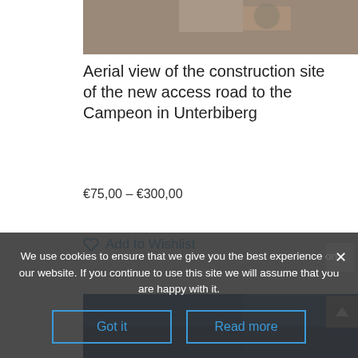[Figure (photo): Aerial view of construction site, brown/grey tones, partially cropped at top of page]
Aerial view of the construction site of the new access road to the Campeon in Unterbiberg
€75,00 – €300,00
Add to Wishlist
[Figure (photo): Partially visible photo with blue tones, cropped at bottom of page]
We use cookies to ensure that we give you the best experience on our website. If you continue to use this site we will assume that you are happy with it.
Got it
Read more